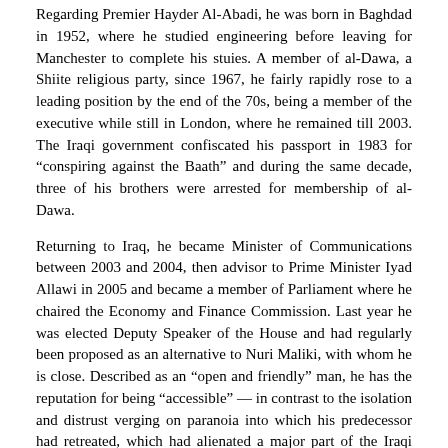Regarding Premier Hayder Al-Abadi, he was born in Baghdad in 1952, where he studied engineering before leaving for Manchester to complete his stuies. A member of al-Dawa, a Shiite religious party, since 1967, he fairly rapidly rose to a leading position by the end of the 70s, being a member of the executive while still in London, where he remained till 2003. The Iraqi government confiscated his passport in 1983 for “conspiring against the Baath” and during the same decade, three of his brothers were arrested for membership of al-Dawa.
Returning to Iraq, he became Minister of Communications between 2003 and 2004, then advisor to Prime Minister Iyad Allawi in 2005 and became a member of Parliament where he chaired the Economy and Finance Commission. Last year he was elected Deputy Speaker of the House and had regularly been proposed as an alternative to Nuri Maliki, with whom he is close. Described as an “open and friendly” man, he has the reputation for being “accessible” — in contrast to the isolation and distrust verging on paranoia into which his predecessor had retreated, which had alienated a major part of the Iraqi and Kurdish political circles.
The Kurds have shown little enthusiasm for joining the new Iraqi government. There was, in deed, some uncertainty about their participation until 8 September, when a meeting took place in Suleimaniyah, at the Gorran Party offices with the principal Kurdish